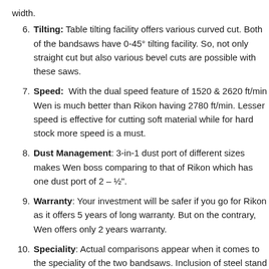width.
Tilting: Table tilting facility offers various curved cut. Both of the bandsaws have 0-45° tilting facility. So, not only straight cut but also various bevel cuts are possible with these saws.
Speed: With the dual speed feature of 1520 & 2620 ft/min Wen is much better than Rikon having 2780 ft/min. Lesser speed is effective for cutting soft material while for hard stock more speed is a must.
Dust Management: 3-in-1 dust port of different sizes makes Wen boss comparing to that of Rikon which has one dust port of 2 – ½".
Warranty: Your investment will be safer if you go for Rikon as it offers 5 years of long warranty. But on the contrary, Wen offers only 2 years warranty.
Speciality: Actual comparisons appear when it comes to the speciality of the two bandsaws. Inclusion of steel stand makes Wen special in the comparison.  But Rikon is special